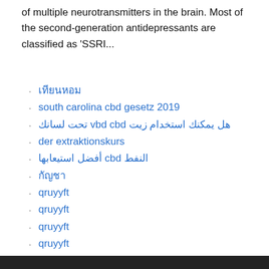of multiple neurotransmitters in the brain. Most of the second-generation antidepressants are classified as 'SSRI...
เทียนหอม
south carolina cbd gesetz 2019
تحت لسانك vbd cbd هل يمكنك استخدام زيت
der extraktionskurs
أفضل استيعابها cbd النفط
กัญชา
qruyyft
qruyyft
qruyyft
qruyyft
qruyyft